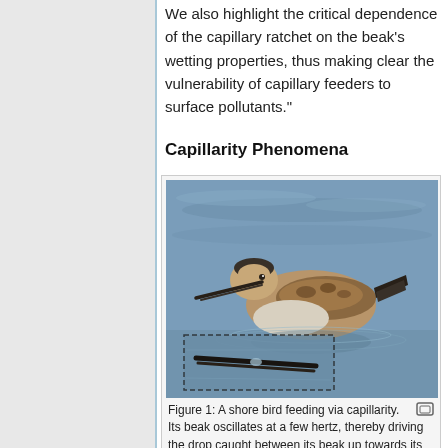We also highlight the critical dependence of the capillary ratchet on the beak's wetting properties, thus making clear the vulnerability of capillary feeders to surface pollutants."
Capillarity Phenomena
[Figure (photo): A shore bird (phalarope) floating on water and feeding via capillarity. The bird has a long thin beak partially open, dark cap, brownish wings with spotted pattern, and white belly. An inset box in the lower-left shows a close-up of the beak near the water surface with a droplet visible.]
Figure 1: A shore bird feeding via capillarity. Its beak oscillates at a few hertz, thereby driving the drop caught between its beak up towards its mouth.